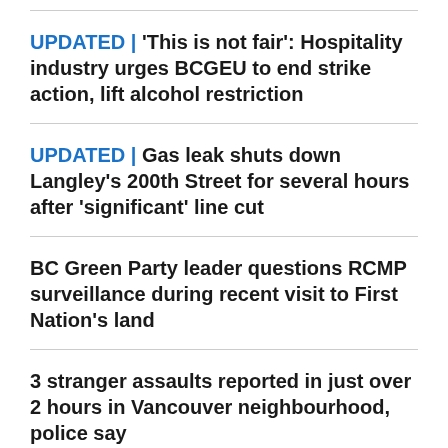UPDATED | 'This is not fair': Hospitality industry urges BCGEU to end strike action, lift alcohol restriction
UPDATED | Gas leak shuts down Langley's 200th Street for several hours after 'significant' line cut
BC Green Party leader questions RCMP surveillance during recent visit to First Nation's land
3 stranger assaults reported in just over 2 hours in Vancouver neighbourhood, police say